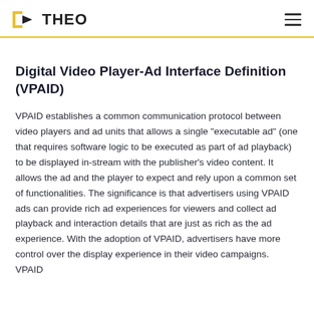THEO
Digital Video Player-Ad Interface Definition (VPAID)
VPAID establishes a common communication protocol between video players and ad units that allows a single “executable ad” (one that requires software logic to be executed as part of ad playback) to be displayed in-stream with the publisher’s video content. It allows the ad and the player to expect and rely upon a common set of functionalities. The significance is that advertisers using VPAID ads can provide rich ad experiences for viewers and collect ad playback and interaction details that are just as rich as the ad experience. With the adoption of VPAID, advertisers have more control over the display experience in their video campaigns. VPAID